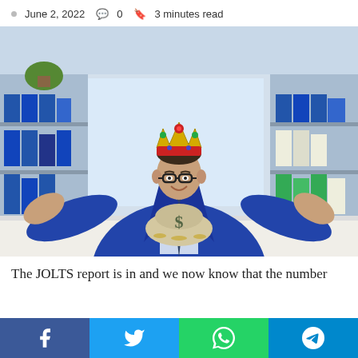June 2, 2022  🗨 0  🔖 3 minutes read
[Figure (photo): A businessman in a blue suit wearing a gold crown, seated at a desk with hands gesturing toward a money bag with a dollar sign on it. Bookshelves with binders visible in the background.]
The JOLTS report is in and we now know that the number
Facebook share | Twitter share | WhatsApp share | Telegram share